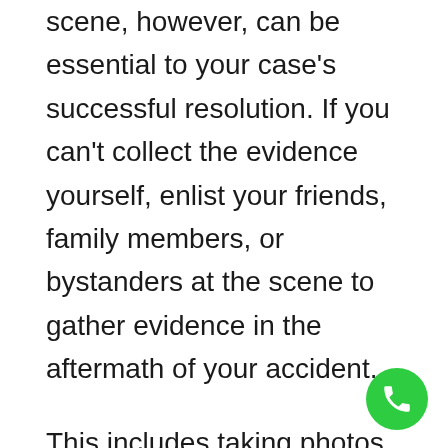scene, however, can be essential to your case's successful resolution. If you can't collect the evidence yourself, enlist your friends, family members, or bystanders at the scene to gather evidence in the aftermath of your accident.
This includes taking photos and videos that capture the scene from every angle and gathering eyewitness testimony and contact information. Swiftly retaining an Albany personal injury lawyer can also help ensure that important evidence isn't lost or destroyed.
[Figure (other): Green circular phone/call button icon in the bottom right corner of the page]